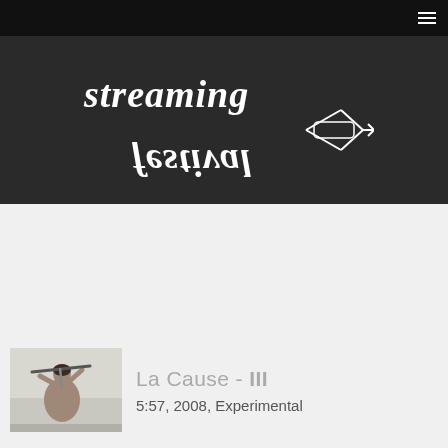streaming festival (logo with navigation)
[Figure (logo): Streaming Festival logo with stylized mirrored text 'streaming festival' in white on dark background, with a fish/shuttle graphic element]
[Figure (photo): Black and white photo of a shirtless person holding a pickaxe, viewed from behind]
La Cause - III
5:57, 2008, Experimental